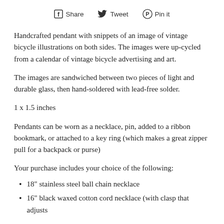Share  Tweet  Pin it
Handcrafted pendant with snippets of an image of vintage bicycle illustrations on both sides. The images were up-cycled from a calendar of vintage bicycle advertising and art.
The images are sandwiched between two pieces of light and durable glass, then hand-soldered with lead-free solder.
1 x 1.5 inches
Pendants can be worn as a necklace, pin, added to a ribbon bookmark, or attached to a key ring (which makes a great zipper pull for a backpack or purse)
Your purchase includes your choice of the following:
18" stainless steel ball chain necklace
16" black waxed cotton cord necklace (with clasp that adjusts